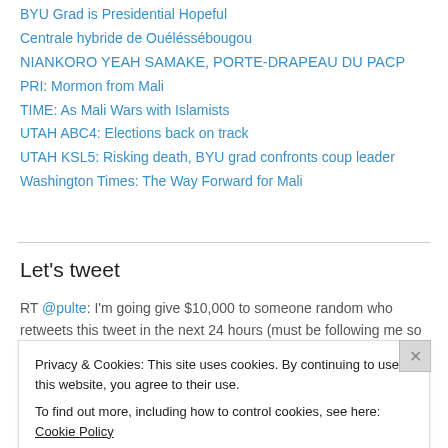BYU Grad is Presidential Hopeful
Centrale hybride de Ouéléssébougou
NIANKORO YEAH SAMAKE, PORTE-DRAPEAU DU PACP
PRI: Mormon from Mali
TIME: As Mali Wars with Islamists
UTAH ABC4: Elections back on track
UTAH KSL5: Risking death, BYU grad confronts coup leader
Washington Times: The Way Forward for Mali
Let's tweet
RT @pulte: I'm going give $10,000 to someone random who retweets this tweet in the next 24 hours (must be following me so I can dm you if
Privacy & Cookies: This site uses cookies. By continuing to use this website, you agree to their use.
To find out more, including how to control cookies, see here: Cookie Policy
Close and accept